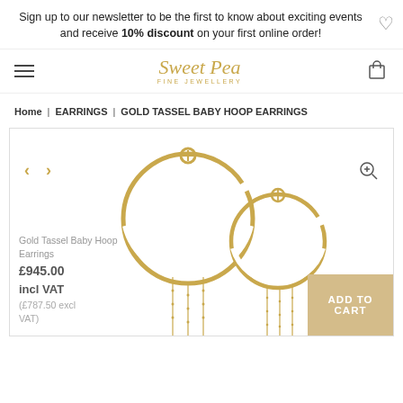Sign up to our newsletter to be the first to know about exciting events and receive 10% discount on your first online order!
[Figure (logo): Sweet Pea Fine Jewellery logo in gold italic script]
Home | EARRINGS | GOLD TASSEL BABY HOOP EARRINGS
[Figure (photo): Gold Tassel Baby Hoop Earrings product photo showing two gold hoop earrings with tassel chains]
Gold Tassel Baby Hoop Earrings £945.00 incl VAT (£787.50 excl VAT)
ADD TO CART